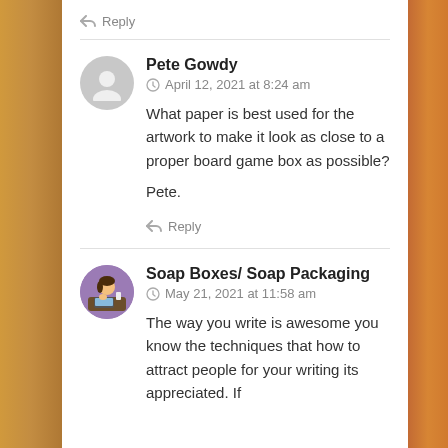Reply
Pete Gowdy
April 12, 2021 at 8:24 am
What paper is best used for the artwork to make it look as close to a proper board game box as possible?

Pete.
Reply
Soap Boxes/ Soap Packaging
May 21, 2021 at 11:58 am
The way you write is awesome you know the techniques that how to attract people for your writing its appreciated. If